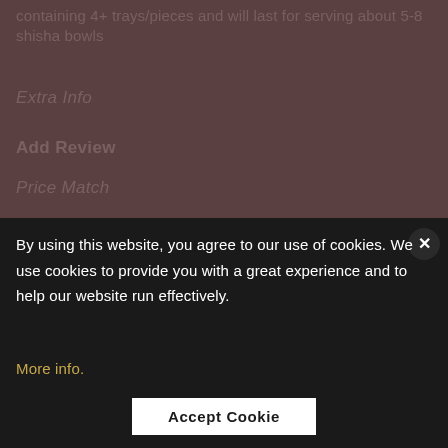containing 4+ trays/pieces and will last for serving about 5-8 shisha bowls
Extra Info
Add Review
Price Match
By using this website, you agree to our use of cookies. We use cookies to provide you with a great experience and to help our website run effectively. More info.
Accept Cookie